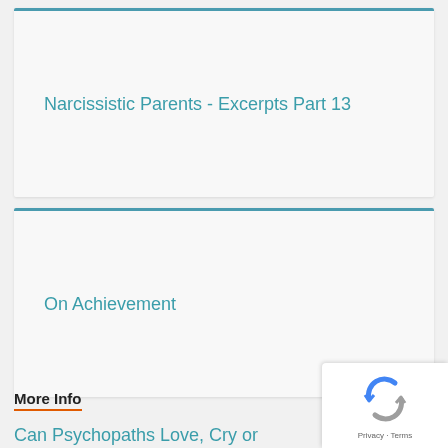Narcissistic Parents - Excerpts Part 13
On Achievement
More Info
Can Psychopaths Love, Cry or Experience...